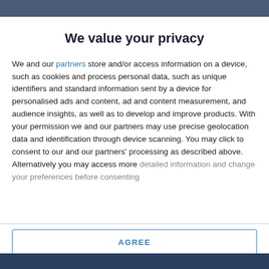We value your privacy
We and our partners store and/or access information on a device, such as cookies and process personal data, such as unique identifiers and standard information sent by a device for personalised ads and content, ad and content measurement, and audience insights, as well as to develop and improve products. With your permission we and our partners may use precise geolocation data and identification through device scanning. You may click to consent to our and our partners' processing as described above. Alternatively you may access more detailed information and change your preferences before consenting
AGREE
MORE OPTIONS